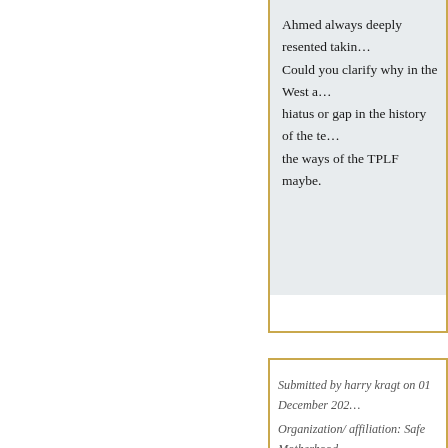Ahmed always deeply resented takin… Could you clarify why in the West a… hiatus or gap in the history of the te… the ways of the TPLF maybe.
Submitted by harry kragt on 01 December 202…
Organization/ affiliation: Safe Motherhood
Dear prof Abbink
I completely agree with your statem… to the rest of the country. My impres…
Submitted by J.A. on 04 December 2020
Organization/ affiliation: ASCL